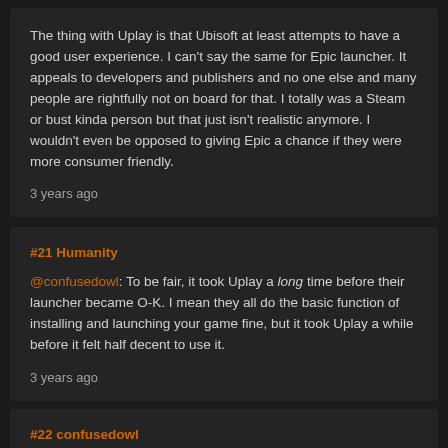The thing with Uplay is that Ubisoft at least attempts to have a good user experience. I can't say the same for Epic launcher. It appeals to developers and publishers and no one else and many people are rightfully not on board for that. I totally was a Steam or bust kinda person but that just isn't realistic anymore. I wouldn't even be opposed to giving Epic a chance if they were more consumer friendly.
3 years ago
#21 Humanity
@confusedowl: To be fair, it took Uplay a long time before their launcher became O-K. I mean they all do the basic function of installing and launching your game fine, but it took Uplay a while before it felt half decent to use it.
3 years ago
#22 confusedowl